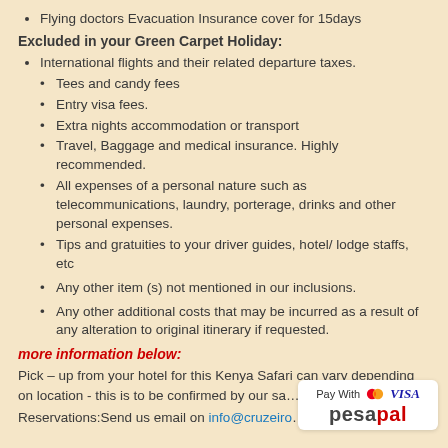Flying doctors Evacuation Insurance cover for 15days
Excluded in your Green Carpet Holiday:
International flights and their related departure taxes.
Tees and candy fees
Entry visa fees.
Extra nights accommodation or transport
Travel, Baggage and medical insurance. Highly recommended.
All expenses of a personal nature such as telecommunications, laundry, porterage, drinks and other personal expenses.
Tips and gratuities to your driver guides, hotel/ lodge staffs, etc
Any other item (s) not mentioned in our inclusions.
Any other additional costs that may be incurred as a result of any alteration to original itinerary if requested.
more information below:
Pick – up from your hotel for this Kenya Safari can vary depending on location - this is to be confirmed by our sa…
Reservations:Send us email on info@cruzeiro…